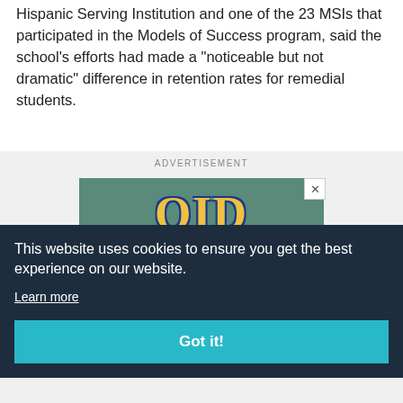Hispanic Serving Institution and one of the 23 MSIs that participated in the Models of Success program, said the school's efforts had made a "noticeable but not dramatic" difference in retention rates for remedial students.
ADVERTISEMENT
[Figure (other): Advertisement banner with teal/green background showing partial blue and gold logo letters, with a close (X) button in the top right corner and a blue bar at the bottom.]
This website uses cookies to ensure you get the best experience on our website.
Learn more
Got it!